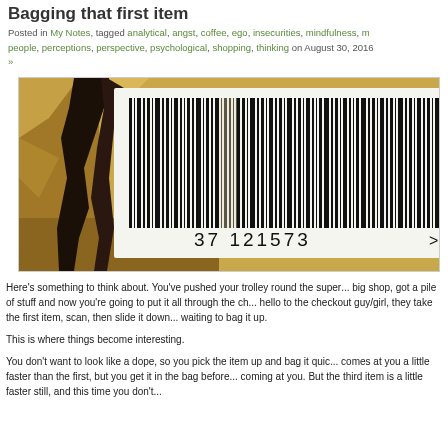Bagging that first item
Posted in My Notes, tagged analytical, angst, coffee, ego, insecurities, mindfulness, m... people, perceptions, perspective, psychological, shopping, thinking on August 30, 2016 »
[Figure (photo): Close-up photo of a barcode label with number 37 121573, on a reflective surface with crinkled packaging]
Here's something to think about. You've pushed your trolley round the super... big shop, got a pile of stuff and now you're going to put it all through the ch... hello to the checkout guy/girl, they take the first item, scan, then slide it down... waiting to bag it up.
This is where things become interesting.
You don't want to look like a dope, so you pick the item up and bag it quic... comes at you a little faster than the first, but you get it in the bag before... coming at you. But the third item is a little faster still, and this time you don't...